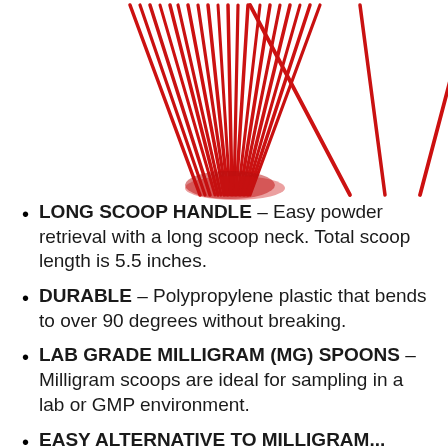[Figure (photo): Red plastic long-handled milligram scoops/spoons fanned out, showing both a bundle and individual spoons arranged in a triangular shape, on white background.]
LONG SCOOP HANDLE – Easy powder retrieval with a long scoop neck. Total scoop length is 5.5 inches.
DURABLE – Polypropylene plastic that bends to over 90 degrees without breaking.
LAB GRADE MILLIGRAM (MG) SPOONS – Milligram scoops are ideal for sampling in a lab or GMP environment.
EASY ALTERNATIVE TO MILLIGRAM...